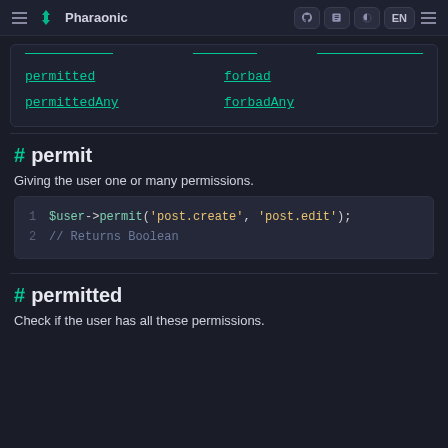Pharaonic — Navigation bar with GitHub, LinkedIn, dark mode, EN, menu icons
| permitted | forbad |
| permittedAny | forbadAny |
# permit
Giving the user one or many permissions.
$user->permit('post.create', 'post.edit');
// Returns Boolean
# permitted
Check if the user has all these permissions.